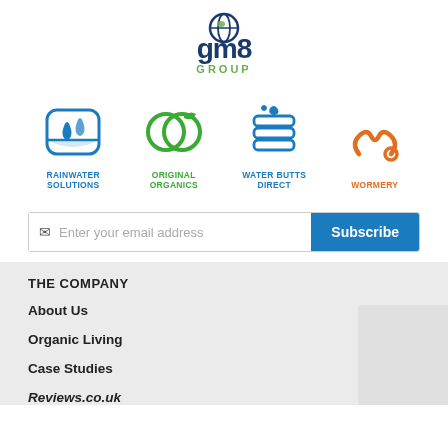[Figure (logo): GM8 Group logo — stylized text 'gm8' with a globe icon and 'GROUP' below]
[Figure (logo): Four brand logos in a row: Rainwater Solutions (blue), Original Organics (green), Water Butts Direct (blue), Wormery (orange)]
Enter your email address
Subscribe
THE COMPANY
About Us
Organic Living
Case Studies
Reviews.co.uk